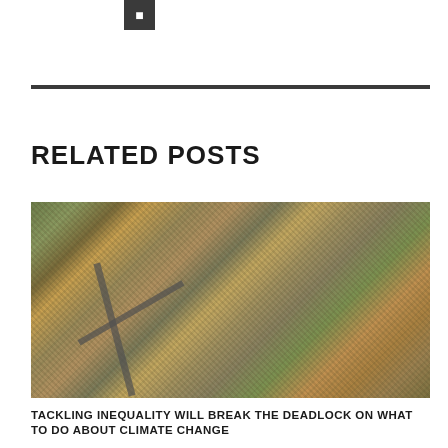[Figure (other): Small dark square icon with a white symbol inside, resembling a bookmark or navigation icon]
RELATED POSTS
[Figure (photo): Aerial drone photograph of a densely packed urban township with informal housing, trees, and roads visible from above]
TACKLING INEQUALITY WILL BREAK THE DEADLOCK ON WHAT TO DO ABOUT CLIMATE CHANGE